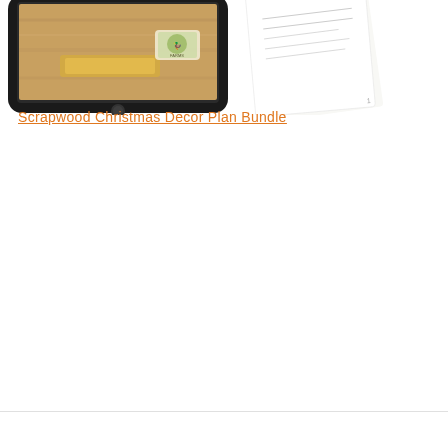[Figure (illustration): A tablet device displaying a woodworking/scrapwood Christmas decor image, next to a printed document/plan sheet, partially cropped at the top of the page.]
Scrapwood Christmas Decor Plan Bundle